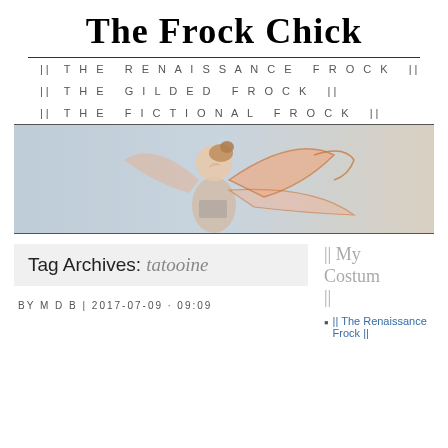The Frock Chick
|| THE RENAISSANCE FROCK ||
|| THE GILDED FROCK ||
|| THE FICTIONAL FROCK ||
[Figure (illustration): Illustration of a fairy or winged woman with auburn hair and butterfly wings on a light blue-grey background banner]
Tag Archives: tatooine
BY M D B | 2017-07-09 · 09:09
|| My Costum ||
|| The Renaissance Frock ||